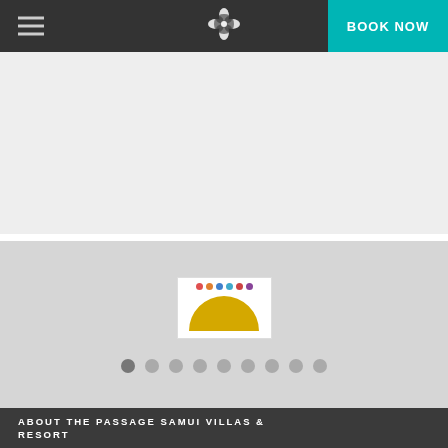Navigation bar with hamburger menu, logo, and BOOK NOW button
[Figure (screenshot): Light gray main image area placeholder below navigation bar]
[Figure (screenshot): Slideshow section with thumbnail card showing colored dots and a gold/yellow semicircle, with nine navigation dots below]
ABOUT THE PASSAGE SAMUI VILLAS & RESORT